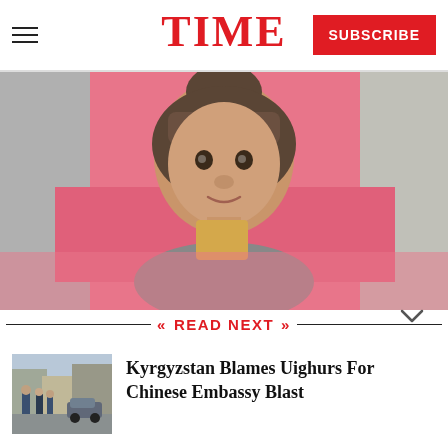TIME — SUBSCRIBE
[Figure (photo): Young woman with bangs holding a small card up to her face, photographed against a pink background]
READ NEXT
[Figure (photo): Thumbnail photo showing police officers or officials on a street scene]
Kyrgyzstan Blames Uighurs For Chinese Embassy Blast